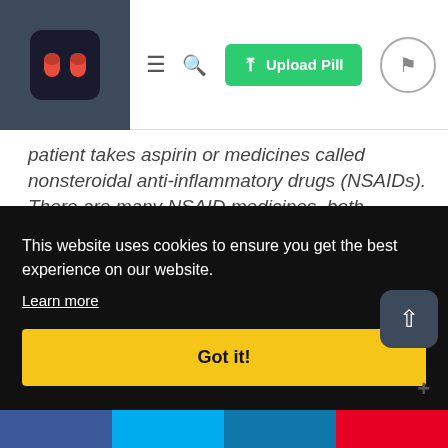[Figure (screenshot): Website navigation bar with logo (red pill icon on dark background), hamburger menu, search icon, green 'Upload Pill' button, and flag icon in circle]
patient takes aspirin or medicines called nonsteroidal anti-inflammatory drugs (NSAIDs). There are many NSAID medicines, both prescription and non-prescription. Ask the doctor or pharmacist if you are not sure if any of the patient's medicines are NSAIDs. Taking NSAIDs
nach
ay
or
This website uses cookies to ensure you get the best experience on our website. Learn more
Got it!